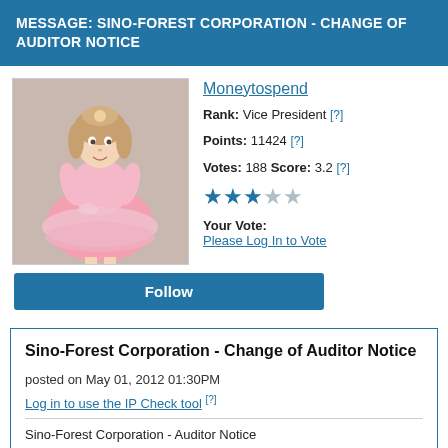MESSAGE: SINO-FOREST CORPORATION - CHANGE OF AUDITOR NOTICE
[Figure (photo): Profile photo of a young girl in a pink ballerina/princess dress]
Moneytospend
Rank: Vice President [?]
Points: 11424 [?]
Votes: 188 Score: 3.2 [?]
Your Vote:
Please Log In to Vote
Follow
Sino-Forest Corporation - Change of Auditor Notice
posted on May 01, 2012 01:30PM
Log in to use the IP Check tool [?]
Sino-Forest Corporation - Auditor Notice